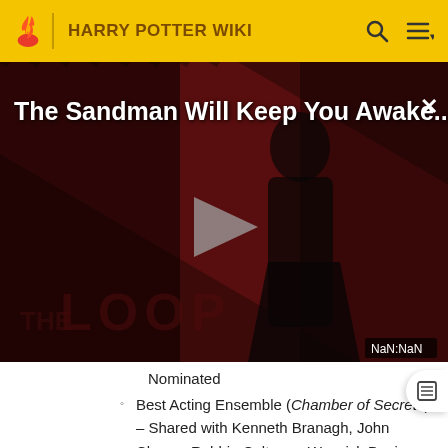HARRY POTTER WIKI
[Figure (screenshot): Video player banner for 'The Sandman Will Keep You Awake...' showing a dark-robed figure against red diagonal stripes background, with THE LOOP text at bottom, a play button in center, and NaN:NaN timestamp in the corner.]
Nominated
Best Acting Ensemble (Chamber of Secrets) – Shared with Kenneth Branagh, John Cleese, Robbie Coltrane, Warwick Davis, Richard Griffiths, Rupert Grint, Richard Harris, Jason Isaacs, Daniel